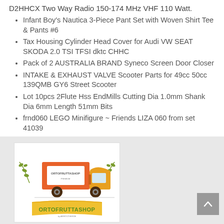D2HHCX Two Way Radio 150-174 MHz VHF 110 Watt.
Infant Boy's Nautica 3-Piece Pant Set with Woven Shirt Tee & Pants #6
Tax Housing Cylinder Head Cover for Audi VW SEAT SKODA 2.0 TSI TFSI dktc CHHC
Pack of 2 AUSTRALIA BRAND Syneco Screen Door Closer
INTAKE & EXHAUST VALVE Scooter Parts for 49cc 50cc 139QMB GY6 Street Scooter
Lot 10pcs 2Flute Hss EndMills Cutting Dia 1.0mm Shank Dia 6mm Length 51mm Bits
frnd060 LEGO Minifigure ~ Friends LIZA 060 from set 41039
[Figure (logo): ORTOFRUTTASHOP logo with a delivery truck illustration and olive branch decorations, yellow banner at bottom with 'ORTOFRUTTASHOP' text]